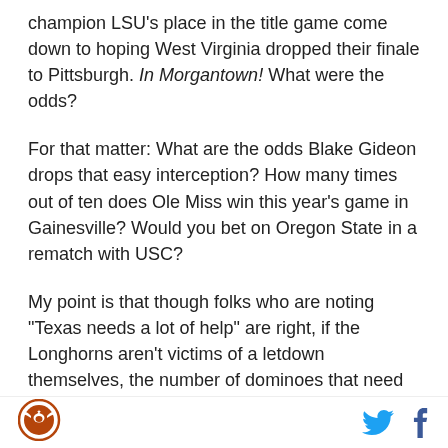champion LSU's place in the title game come down to hoping West Virginia dropped their finale to Pittsburgh. In Morgantown! What were the odds?
For that matter: What are the odds Blake Gideon drops that easy interception? How many times out of ten does Ole Miss win this year's game in Gainesville? Would you bet on Oregon State in a rematch with USC?
My point is that though folks who are noting "Texas needs a lot of help" are right, if the Longhorns aren't victims of a letdown themselves, the number of dominoes that need to fall and the odds that they won't are not so great that a rational fan should give up
[Figure (logo): Burnt orange circular logo with a star and longhorn icon]